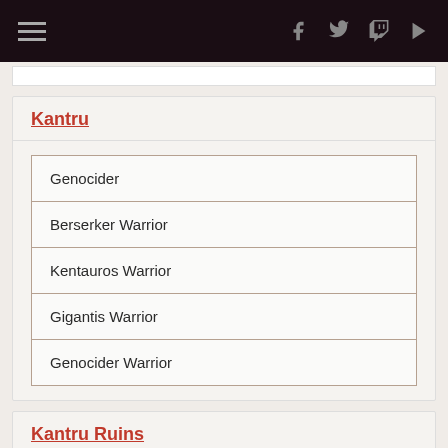Navigation header with hamburger menu and social icons (Facebook, Twitter, Twitch, YouTube)
Kantru
Genocider
Berserker Warrior
Kentauros Warrior
Gigantis Warrior
Genocider Warrior
Kantru Ruins
Twin Tale